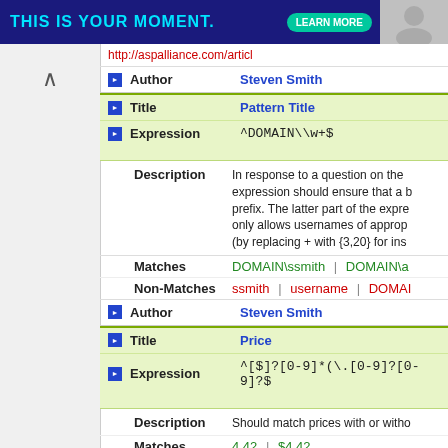[Figure (screenshot): Top banner ad with text THIS IS YOUR MOMENT. and LEARN MORE button on dark blue background, with photo on right]
http://aspalliance.com/articl
Author: Steven Smith
Title: Pattern Title
Expression: ^DOMAIN\\w+$
Description: In response to a question on the expression should ensure that a b prefix. The latter part of the expre only allows usernames of approp (by replacing + with {3,20} for ins
Matches: DOMAIN\ssmith | DOMAIN\a
Non-Matches: ssmith | username | DOMAI
Author: Steven Smith
Title: Price
Expression: ^[$]?[0-9]*(\.[0-9]?[0-9]?$
Description: Should match prices with or witho
Matches: 4.42 | $4.42